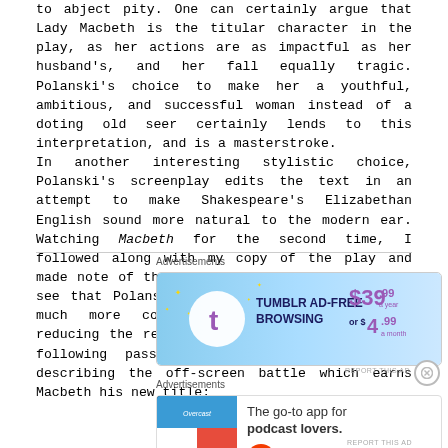to abject pity. One can certainly argue that Lady Macbeth is the titular character in the play, as her actions are as impactful as her husband's, and her fall equally tragic. Polanski's choice to make her a youthful, ambitious, and successful woman instead of a doting old seer certainly lends to this interpretation, and is a masterstroke. In another interesting stylistic choice, Polanski's screenplay edits the text in an attempt to make Shakespeare's Elizabethan English sound more natural to the modern ear. Watching Macbeth for the second time, I followed along with my copy of the play and made note of the changes, and was intrigued to see that Polanski imparts the language with a much more conversational feel simply by reducing the repetition. For example, take the following passage from early in the play describing the off-screen battle which earns Macbeth his new title:
[Figure (other): Tumblr Ad-Free Browsing advertisement banner: $39.99 a year or $4.99 a month, with Tumblr logo]
[Figure (other): Pocket Casts advertisement: The go-to app for podcast lovers, with Pocket Casts logo and colorful app icon]